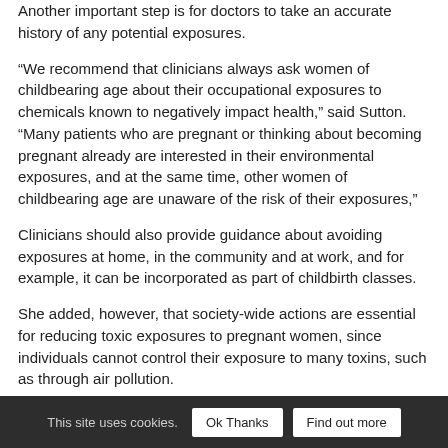Another important step is for doctors to take an accurate history of any potential exposures.
“We recommend that clinicians always ask women of childbearing age about their occupational exposures to chemicals known to negatively impact health,” said Sutton. “Many patients who are pregnant or thinking about becoming pregnant already are interested in their environmental exposures, and at the same time, other women of childbearing age are unaware of the risk of their exposures,”
Clinicians should also provide guidance about avoiding exposures at home, in the community and at work, and for example, it can be incorporated as part of childbirth classes.
She added, however, that society-wide actions are essential for reducing toxic exposures to pregnant women, since individuals cannot control their exposure to many toxins, such as through air pollution.
“As a society, we have a lot of work to do in terms of informing women of the dangers,” said Dr. Naomi Stotland, lead investigator for the survey.
This site uses cookies.  Ok Thanks  Find out more